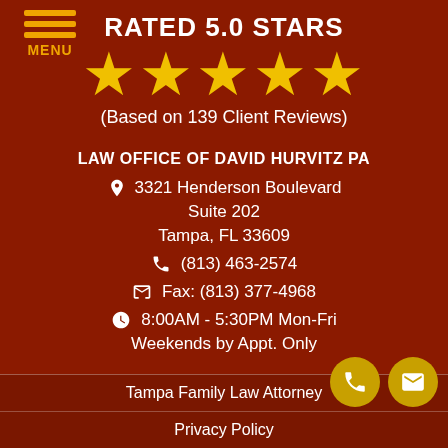[Figure (logo): Menu hamburger icon with three horizontal lines and MENU text in gold]
RATED 5.0 STARS
[Figure (infographic): Five gold star rating icons]
(Based on 139 Client Reviews)
LAW OFFICE OF DAVID HURVITZ PA
3321 Henderson Boulevard
Suite 202
Tampa, FL 33609
(813) 463-2574
Fax: (813) 377-4968
8:00AM - 5:30PM Mon-Fri
Weekends by Appt. Only
Tampa Family Law Attorney | Privacy Policy